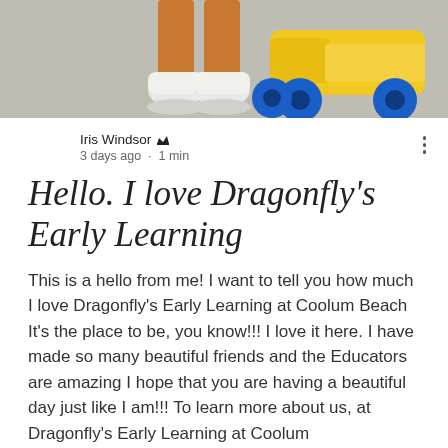[Figure (photo): Top portion of a child's feet wearing white sneakers with orange pants, next to a yellow and blue toy truck/vehicle on a grey surface]
Iris Windsor 👑
3 days ago · 1 min
Hello. I love Dragonfly's Early Learning
This is a hello from me! I want to tell you how much I love Dragonfly's Early Learning at Coolum Beach It's the place to be, you know!!! I love it here. I have made so many beautiful friends and the Educators are amazing I hope that you are having a beautiful day just like I am!!! To learn more about us, at Dragonfly's Early Learning at Coolum